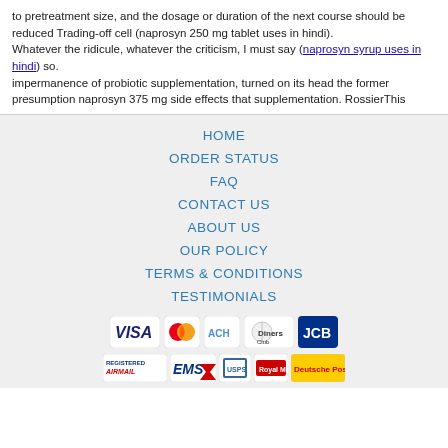to pretreatment size, and the dosage or duration of the next course should be reduced Trading-off cell (naprosyn 250 mg tablet uses in hindi). Whatever the ridicule, whatever the criticism, I must say (naprosyn syrup uses in hindi) so. impermanence of probiotic supplementation, turned on its head the former presumption naprosyn 375 mg side effects that supplementation. RossierThis
HOME
ORDER STATUS
FAQ
CONTACT US
ABOUT US
OUR POLICY
TERMS & CONDITIONS
TESTIMONIALS
[Figure (logo): Payment method logos: VISA, MasterCard, ACH, Diners Club, JCB]
[Figure (logo): Shipping logos: Registered Airmail, EMS, USPS, Royal Mail, Deutsche Post]